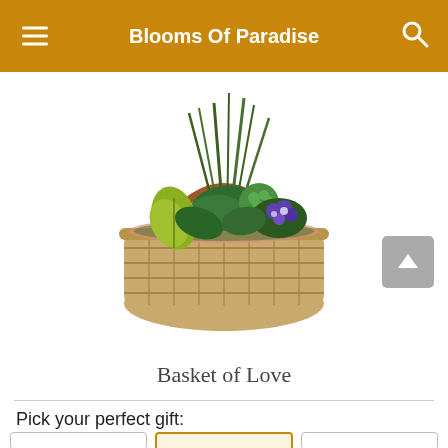Blooms Of Paradise
[Figure (photo): A wicker basket arrangement containing multiple green plants including tall grass-like plants, peace lily, croton with yellow-green leaves, kalanchoe with green flowers, and African violet with purple and white blooms. The basket has a curved wicker handle.]
Basket of Love
Pick your perfect gift: